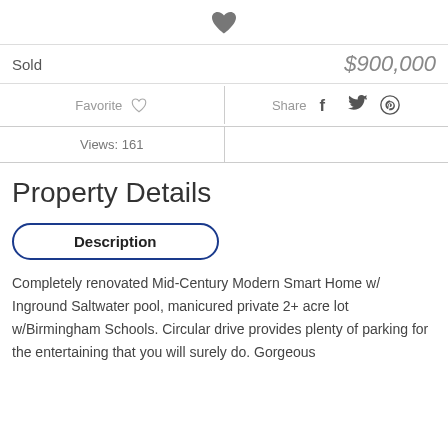[Figure (illustration): Filled heart icon (favorite/like button) centered at top]
Sold   $900,000
Favorite  [heart icon]  |  Share  [facebook] [twitter] [pinterest]
Views: 161
Property Details
Description
Completely renovated Mid-Century Modern Smart Home w/ Inground Saltwater pool, manicured private 2+ acre lot w/Birmingham Schools. Circular drive provides plenty of parking for the entertaining that you will surely do. Gorgeous